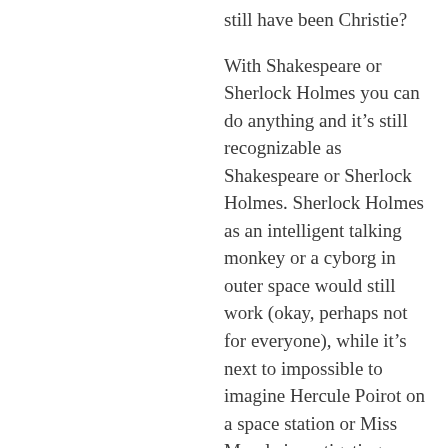still have been Christie?
With Shakespeare or Sherlock Holmes you can do anything and it's still recognizable as Shakespeare or Sherlock Holmes. Sherlock Holmes as an intelligent talking monkey or a cyborg in outer space would still work (okay, perhaps not for everyone), while it's next to impossible to imagine Hercule Poirot on a space station or Miss Marple investigating a Mexican drug cartel. Their worlds are clearly defined by certain boundaries and I think